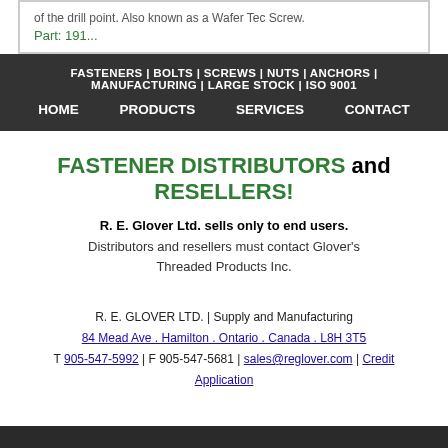of the drill point. Also known as a Wafer Tec Screw. Part: 191...
FASTENERS | BOLTS | SCREWS | NUTS | ANCHORS | MANUFACTURING | LARGE STOCK | ISO 9001
HOME    PRODUCTS    SERVICES    CONTACT
FASTENER DISTRIBUTORS and RESELLERS!
R. E. Glover Ltd. sells only to end users. Distributors and resellers must contact Glover's Threaded Products Inc.
R. E. GLOVER LTD. | Supply and Manufacturing
84 Mead Ave . Hamilton . Ontario . Canada . L8H 3T5
T 905-547-5992 | F 905-547-5681 | sales@reglover.com | Credit Application